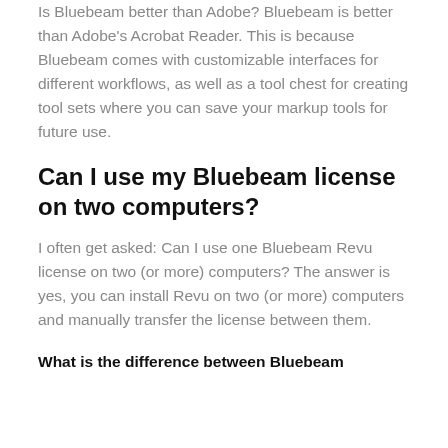Is Bluebeam better than Adobe? Bluebeam is better than Adobe's Acrobat Reader. This is because Bluebeam comes with customizable interfaces for different workflows, as well as a tool chest for creating tool sets where you can save your markup tools for future use.
Can I use my Bluebeam license on two computers?
I often get asked: Can I use one Bluebeam Revu license on two (or more) computers? The answer is yes, you can install Revu on two (or more) computers and manually transfer the license between them.
What is the difference between Bluebeam